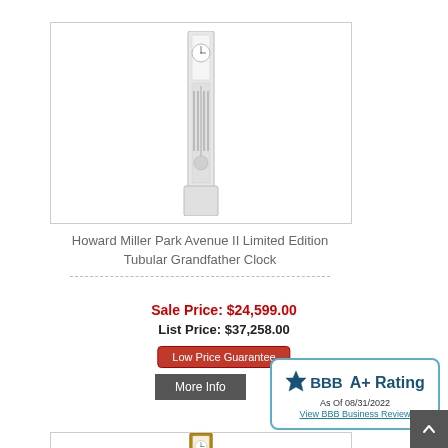[Figure (photo): Howard Miller Park Avenue II grandfather clock - tall slim clock with white/chrome finish, pendulum visible, displayed against white background]
Howard Miller Park Avenue II Limited Edition Tubular Grandfather Clock
Sale Price: $24,599.00
List Price: $37,258.00
Low Price Guarantee
More Info
[Figure (logo): BBB A+ Rating As Of 08/31/2022 View BBB Business Review badge]
[Figure (photo): Second grandfather clock product image - wooden finish clock partially visible at bottom of page]